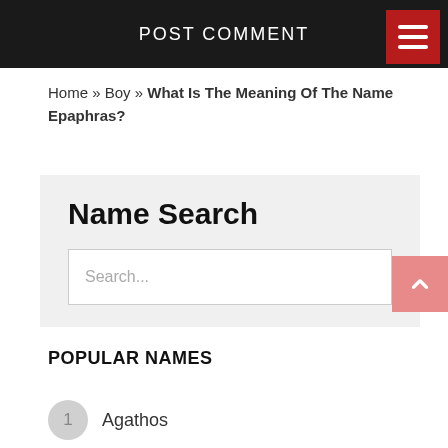POST COMMENT
Home » Boy » What Is The Meaning Of The Name Epaphras?
Name Search
Search...
POPULAR NAMES
1 Agathos